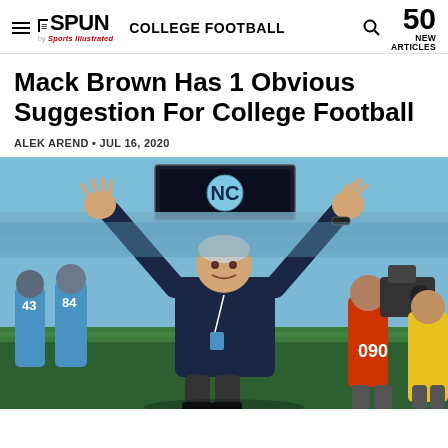THE SPUN by Sports Illustrated — COLLEGE FOOTBALL — 50 NEW ARTICLES
Mack Brown Has 1 Obvious Suggestion For College Football
ALEK AREND • JUL 16, 2020
[Figure (photo): Mack Brown, UNC head football coach, standing on the field with both arms raised in celebration, wearing a navy blue polo shirt with UNC logo. Players in Carolina blue uniforms visible behind him, along with a camera crew. A large video board displaying the NC logo is visible in the background of the packed stadium.]